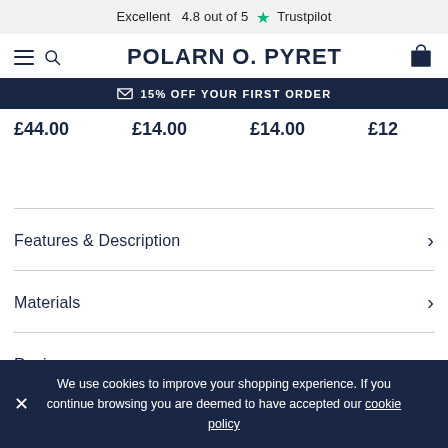Excellent 4.8 out of 5 ★ Trustpilot
[Figure (logo): Polarn O. Pyret logo with hamburger/search icon on left and bag icon on right]
✉ 15% OFF YOUR FIRST ORDER
£44.00  £14.00  £14.00  £12...
Features & Description
Materials
Reviews
We use cookies to improve your shopping experience. If you continue browsing you are deemed to have accepted our cookie policy